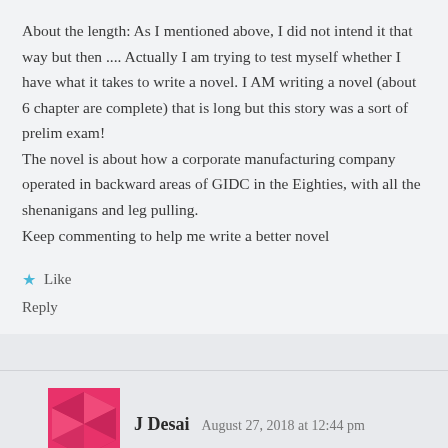About the length: As I mentioned above, I did not intend it that way but then .... Actually I am trying to test myself whether I have what it takes to write a novel. I AM writing a novel (about 6 chapter are complete) that is long but this story was a sort of prelim exam!
The novel is about how a corporate manufacturing company operated in backward areas of GIDC in the Eighties, with all the shenanigans and leg pulling.
Keep commenting to help me write a better novel
Like
Reply
J Desai   August 27, 2018 at 12:44 pm
Just as I really got into the Gandevi streets and Ajarai, it